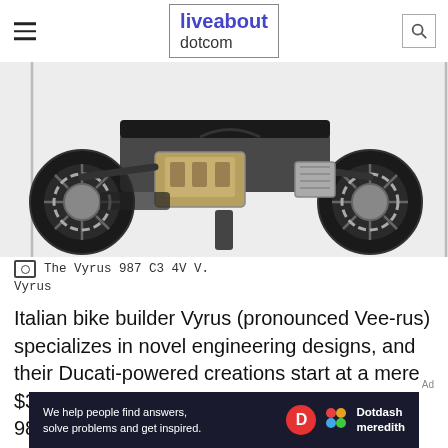liveabout dotcom
[Figure (photo): Underside/rear view of the Vyrus 987 C3 4V V motorcycle showing exposed engine, wheels, suspension and frame components against a white background]
The Vyrus 987 C3 4V V.
Vyrus
Italian bike builder Vyrus (pronounced Vee-rus) specializes in novel engineering designs, and their Ducati-powered creations start at a mere $31,012.37... but move all the way up to their 987 C3 4V V (Volumex) model, and you'll be looking at
[Figure (infographic): Dotdash Meredith advertisement banner: 'We help people find answers, solve problems and get inspired.' with Dotdash Meredith logo]